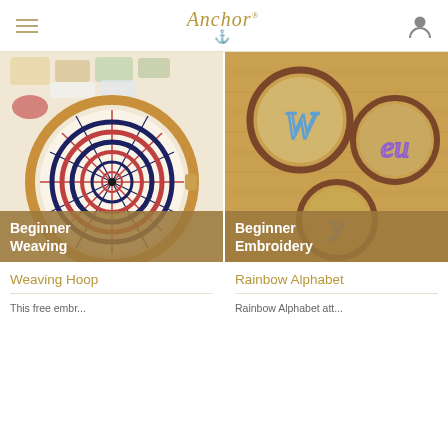Anchor
[Figure (photo): Embroidery hoop with concentric circular weaving pattern in red, navy, and cream threads, with yarn skeins in background]
Beginner Weaving
Weaving Hoop
This free embr...
[Figure (photo): Three small wooden embroidery hoops on burlap fabric showing embroidered cursive letters W, eu, and y in rainbow colors]
Beginner Embroidery
Rainbow Alphabet
Rainbow Alphabet att...